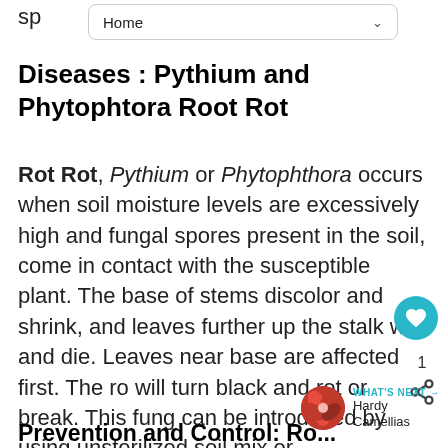sp
Home
Diseases : Pythium and Phytophtora Root Rot
Rot Rot, Pythium or Phytophthora occurs when soil moisture levels are excessively high and fungal spores present in the soil, come in contact with the susceptible plant. The base of stems discolor and shrink, and leaves further up the stalk wilt and die. Leaves near base are affected first. The ro will turn black and rot or break. This fung can be introduced by using unsterilized soil mix or contaminated water.
Prevention and Control: Ro...